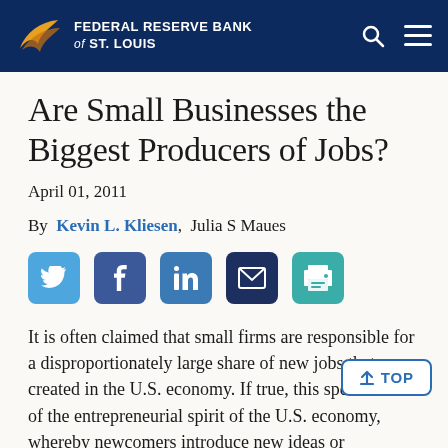FEDERAL RESERVE BANK of ST. LOUIS
Are Small Businesses the Biggest Producers of Jobs?
April 01, 2011
By Kevin L. Kliesen, Julia S Maues
[Figure (other): Social media sharing icons: Twitter, Facebook, LinkedIn, Email, Print]
It is often claimed that small firms are responsible for a disproportionately large share of new jobs that are created in the U.S. economy. If true, this speaks well of the entrepreneurial spirit of the U.S. economy, whereby newcomers introduce new ideas or